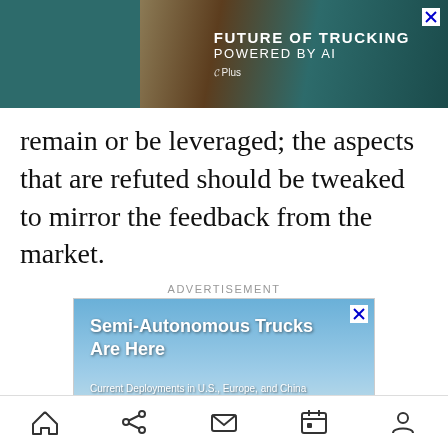[Figure (screenshot): Top advertisement banner for 'Future of Trucking Powered by AI' by Plus, showing a truck in a desert landscape with teal background]
remain or be leveraged; the aspects that are refuted should be tweaked to mirror the feedback from the market.
ADVERTISEMENT
[Figure (screenshot): Advertisement for Plus showing a white semi-autonomous truck. Text reads: Semi-Autonomous Trucks Are Here. Current Deployments in U.S., Europe, and China. Plus logo.]
[Figure (screenshot): Bottom navigation bar with home, share, mail, calendar, and user profile icons]